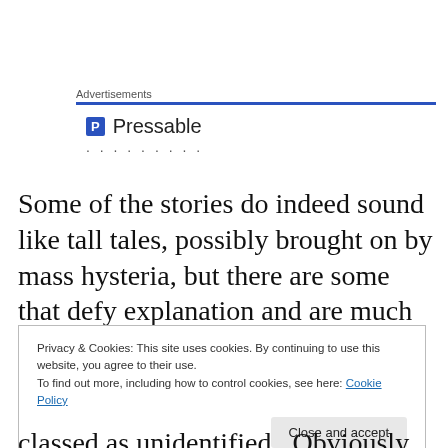[Figure (other): Advertisements section with blue bar and Pressable logo with P icon and dotted loading indicator]
Some of the stories do indeed sound like tall tales, possibly brought on by mass hysteria, but there are some that defy explanation and are much more disturbing in nature.  Literally
Privacy & Cookies: This site uses cookies. By continuing to use this website, you agree to their use.
To find out more, including how to control cookies, see here: Cookie Policy
Close and accept
classed as unidentified.  Obviously,  What that